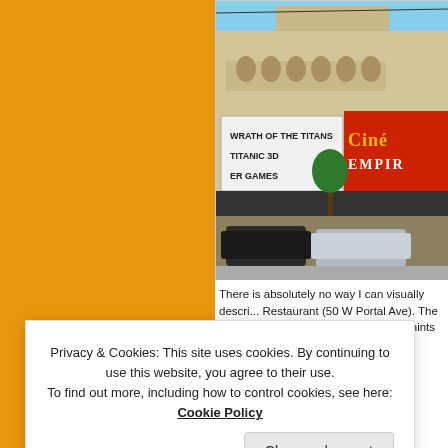[Figure (photo): Exterior photo of CineArts at the Empire theater showing marquee with 'WRATH OF THE TITANS', 'TITANIC 3D', and 'HUNGER GAMES'. Red CineArts at the Empire signage visible. Cars parked in front.]
There is absolutely no way I can visually descri... Restaurant (50 W Portal Ave). The exterior ha... house coloring that only hints at the complete d... or,... ely... 5.
Privacy & Cookies: This site uses cookies. By continuing to use this website, you agree to their use.
To find out more, including how to control cookies, see here: Cookie Policy
Close and accept